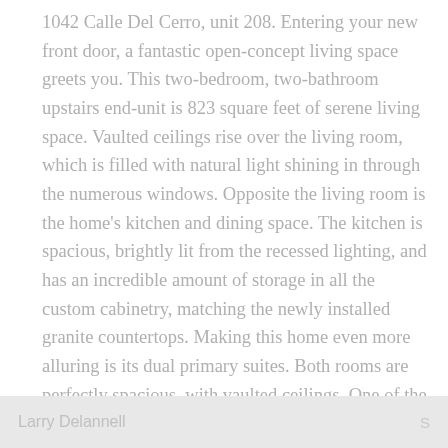1042 Calle Del Cerro, unit 208. Entering your new front door, a fantastic open-concept living space greets you. This two-bedroom, two-bathroom upstairs end-unit is 823 square feet of serene living space. Vaulted ceilings rise over the living room, which is filled with natural light shining in through the numerous windows. Opposite the living room is the home's kitchen and dining space. The kitchen is spacious, brightly lit from the recessed lighting, and has an incredible amount of storage in all the custom cabinetry, matching the newly installed granite countertops. Making this home even more alluring is its dual primary suites. Both rooms are perfectly spacious, with vaulted ceilings. One of the rooms has a large walk-in closet, while the other features a private balcony, perfect to sit out on and enjoy that crisp, salty ocean breeze. Finally, what makes this home so special is its location. Within the complex, it is perfectly located, perched above a babbling stream, which you can calmly hear from your private balcony.
Larry Delannell